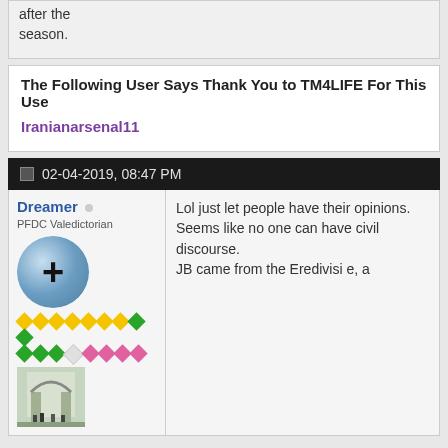after the season.
The Following User Says Thank You to TM4LIFE For This Use
Iranianarsenal11
02-04-2019, 08:47 PM
Dreamer
PFDC Valedictorian
[Figure (illustration): Soccer ball avatar with a black plus sign overlay]
[Figure (illustration): Pixel art diamond rank icons in yellow, green, white, and pink colors arranged in two rows]
[Figure (photo): Signature image showing an architectural structure (likely Azadi Tower in Tehran) with people in foreground]
Lol just let people have their opinions. Seems like no one can have civil discourse. JB came from the Eredivisie, a